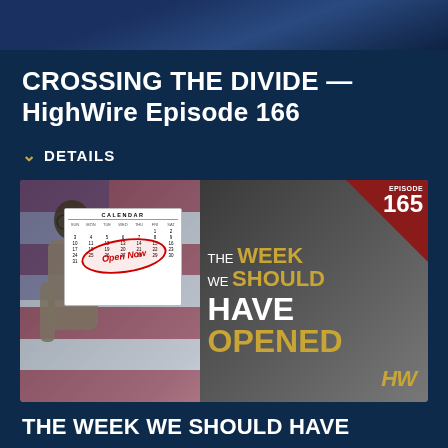[Figure (photo): Top banner strip showing partial image of HighWire show with American flag and eagle imagery]
CROSSING THE DIVIDE — HighWire Episode 166
DETAILS
[Figure (photo): Thumbnail for HighWire Episode 165 titled 'The Week We Should Have Opened' showing a person pointing to a calendar with 'Open Now' circled in red, in front of an American flag. Upper right has a dark red triangle with 'EPISODE 165'. Right side shows bold text: THE WEEK WE SHOULD HAVE OPENED. Bottom right has HW logo in gold.]
THE WEEK WE SHOULD HAVE